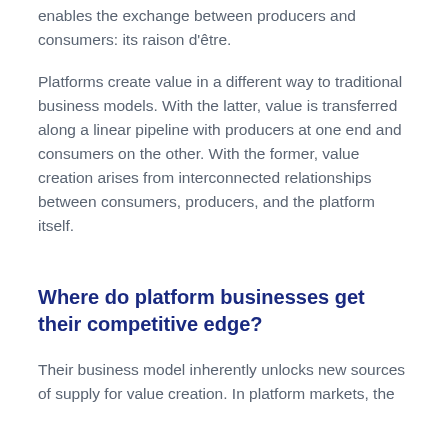enables the exchange between producers and consumers: its raison d'être.
Platforms create value in a different way to traditional business models. With the latter, value is transferred along a linear pipeline with producers at one end and consumers on the other. With the former, value creation arises from interconnected relationships between consumers, producers, and the platform itself.
Where do platform businesses get their competitive edge?
Their business model inherently unlocks new sources of supply for value creation. In platform markets, the